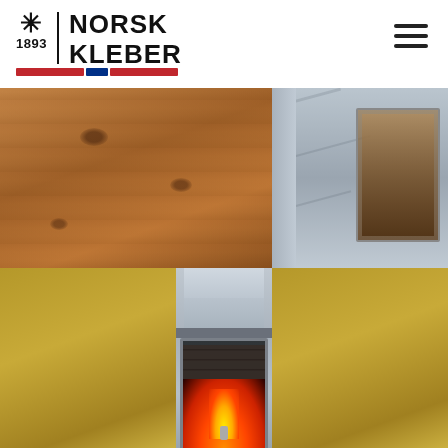[Figure (logo): Norsk Kleber logo with snowflake symbol, year 1893, vertical divider, bold brand name NORSK KLEBER in two lines, and Norwegian flag color bar beneath]
[Figure (photo): Split photograph showing blurred wooden log wall texture on left, a soapstone fireplace with glass door on upper right, and a soapstone wood stove with open fire door showing flames in the center-bottom, set against golden/mustard backgrounds on the sides]